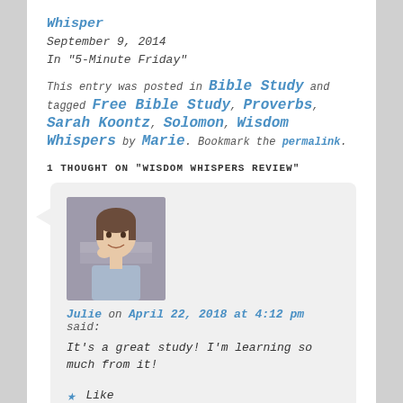Whisper
September 9, 2014
In "5-Minute Friday"
This entry was posted in Bible Study and tagged Free Bible Study, Proverbs, Sarah Koontz, Solomon, Wisdom Whispers by Marie. Bookmark the permalink.
1 THOUGHT ON "WISDOM WHISPERS REVIEW"
[Figure (photo): Profile photo of a smiling woman with short hair, wearing a light blue top, hand near chin.]
Julie on April 22, 2018 at 4:12 pm said:
It's a great study! I'm learning so much from it!
Like